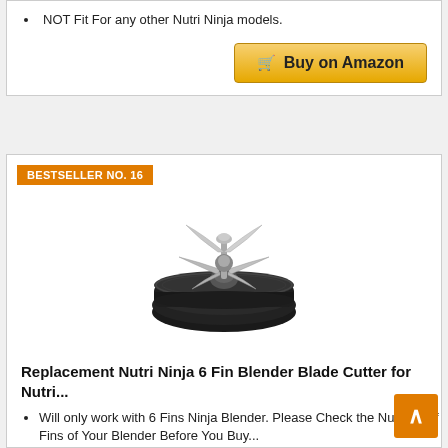NOT Fit For any other Nutri Ninja models.
Buy on Amazon
BESTSELLER NO. 16
[Figure (photo): Black circular blender blade assembly with 6-fin stainless steel blade cutter for Nutri Ninja]
Replacement Nutri Ninja 6 Fin Blender Blade Cutter for Nutri...
Will only work with 6 Fins Ninja Blender. Please Check the Number of Fins of Your Blender Before You Buy...